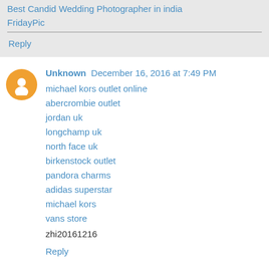Best Candid Wedding Photographer in india
FridayPic
Reply
Unknown  December 16, 2016 at 7:49 PM
michael kors outlet online
abercrombie outlet
jordan uk
longchamp uk
north face uk
birkenstock outlet
pandora charms
adidas superstar
michael kors
vans store
zhi20161216
Reply
Unknown  December 19, 2016 at 3:13 AM
CBSE Result 2017